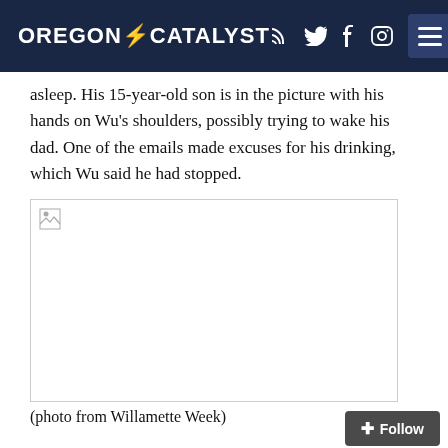OREGON CATALYST
asleep. His 15-year-old son is in the picture with his hands on Wu's shoulders, possibly trying to wake his dad. One of the emails made excuses for his drinking, which Wu said he had stopped.
[Figure (photo): A photo with a broken image placeholder, bordered rectangle. Photo credit from Willamette Week.]
(photo from Willamette Week)